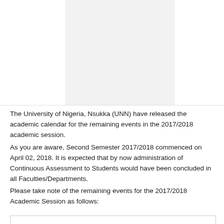[Figure (other): Placeholder image area at top of page, appears to be a header or logo image region]
The University of Nigeria, Nsukka (UNN) have released the academic calendar for the remaining events in the 2017/2018 academic session.
As you are aware, Second Semester 2017/2018 commenced on April 02, 2018. It is expected that by now administration of Continuous Assessment to Students would have been concluded in all Faculties/Departments.
Please take note of the remaining events for the 2017/2018 Academic Session as follows: